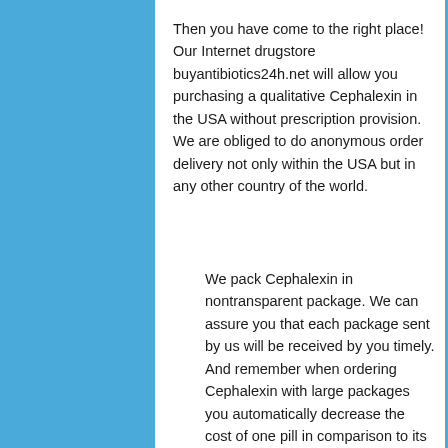Then you have come to the right place! Our Internet drugstore buyantibiotics24h.net will allow you purchasing a qualitative Cephalexin in the USA without prescription provision. We are obliged to do anonymous order delivery not only within the USA but in any other country of the world.
We pack Cephalexin in nontransparent package. We can assure you that each package sent by us will be received by you timely. And remember when ordering Cephalexin with large packages you automatically decrease the cost of one pill in comparison to its cost when ordering with small packages. Difference in cost you can see in Economy field. Besides, when ordering Cephalexin for amount exceeding $200 despite you location delivery will be free of charge for you. You can pay for Cephalexin purchase on a secure page of the site